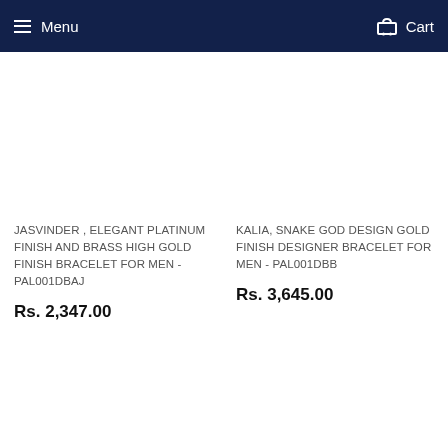Menu   Cart
JASVINDER , ELEGANT PLATINUM FINISH AND BRASS HIGH GOLD FINISH BRACELET FOR MEN -PAL001DBAJ
Rs. 2,347.00
KALIA, SNAKE GOD DESIGN GOLD FINISH DESIGNER BRACELET FOR MEN - PAL001DBB
Rs. 3,645.00